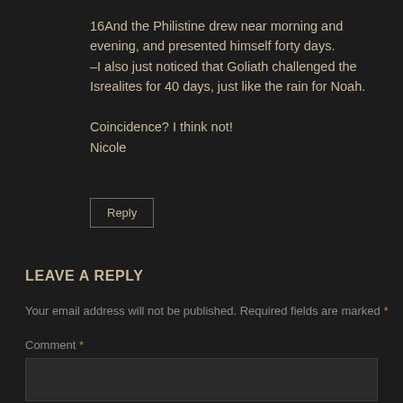16And the Philistine drew near morning and evening, and presented himself forty days.
–I also just noticed that Goliath challenged the Isrealites for 40 days, just like the rain for Noah.

Coincidence? I think not!
Nicole
Reply
LEAVE A REPLY
Your email address will not be published. Required fields are marked *
Comment *